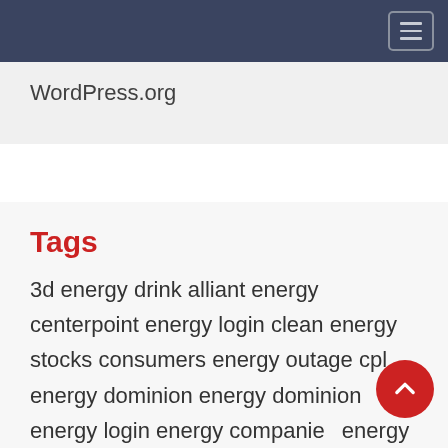Navigation bar with hamburger menu button
WordPress.org
Tags
3d energy drink alliant energy centerpoint energy login clean energy stocks consumers energy outage cpl energy dominion energy dominion energy login energy companies energy healing energy transfer first energy first energy login first energy ohio first